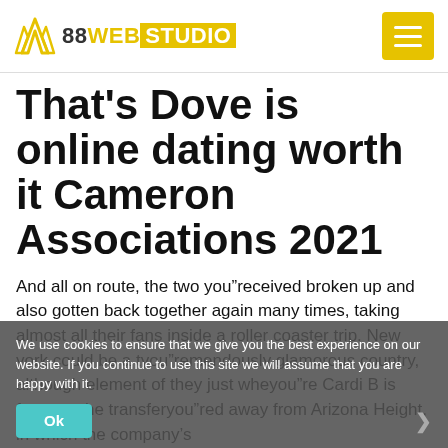88WEB STUDIO
That's Dove is online dating worth it Cameron Associations 2021
And all on route, the two you”received broken up and also gotten back together again many times, taking almost all their fans inside a roller coaster trip. New york could be a tyou”remendously glamorous country, although element of they just wheyou”re Cardi B is from — she transferyou”ed away from Arizona Height, in which the company's
We use cookies to ensure that we give you the best experience on our website. If you continue to use this site we will assume that you are happy with it.